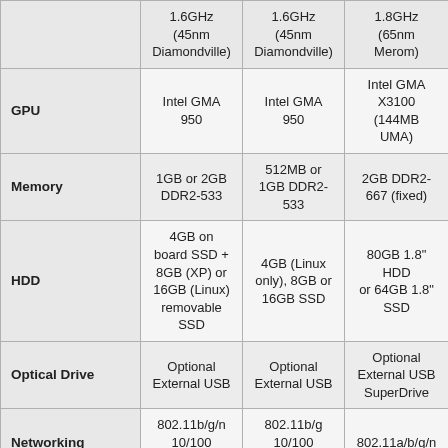|  | Col1 | Col2 | Col3 |
| --- | --- | --- | --- |
|  | 1.6GHz (45nm Diamondville) | 1.6GHz (45nm Diamondville) | 1.8GHz (65nm Merom) |
| GPU | Intel GMA 950 | Intel GMA 950 | Intel GMA X3100 (144MB UMA) |
| Memory | 1GB or 2GB DDR2-533 | 512MB or 1GB DDR2-533 | 2GB DDR2-667 (fixed) |
| HDD | 4GB on board SSD + 8GB (XP) or 16GB (Linux) removable SSD | 4GB (Linux only), 8GB or 16GB SSD | 80GB 1.8" HDD or 64GB 1.8" SSD |
| Optical Drive | Optional External USB | Optional External USB | Optional External USB SuperDrive |
| Networking | 802.11b/g/n 10/100 Ethernet | 802.11b/g 10/100 Ethernet | 802.11a/b/g/n |
| Built in Camera | Yes | Optional | Yes |